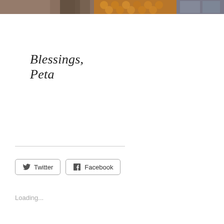[Figure (photo): A horizontal strip of images at the top: left segment shows a person with dark clothing and a light background fabric, middle segment shows baked goods (round rolls/pastries) arranged in a heart shape, right segment shows a laptop or electronic device screen.]
Blessings, Peta
Share this post with your friends
Twitter
Facebook
Loading...